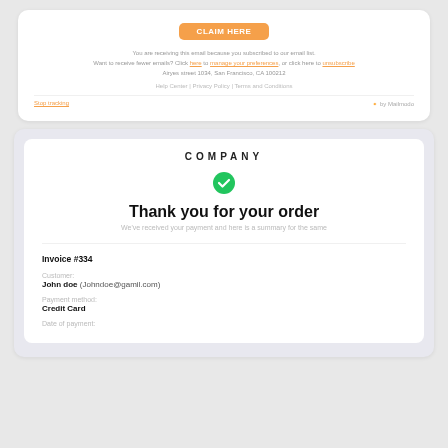[Figure (screenshot): Top portion of an email with an orange call-to-action button, footer unsubscribe links, and 'Stop tracking' / 'by Mailmodo' footer row]
COMPANY
[Figure (illustration): Green circle with white checkmark icon]
Thank you for your order
We've received your payment and here is a summary for the same
Invoice #334
Customer:
John doe (Johndoe@gamil.com)
Payment method:
Credit Card
Date of payment: